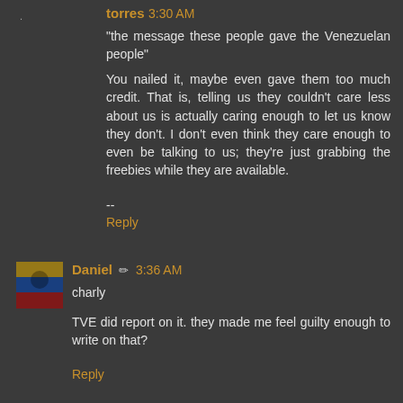torres 3:30 AM
"the message these people gave the Venezuelan people"
You nailed it, maybe even gave them too much credit. That is, telling us they couldn't care less about us is actually caring enough to let us know they don't. I don't even think they care enough to even be talking to us; they're just grabbing the freebies while they are available.
--
Reply
Daniel 3:36 AM
charly
TVE did report on it. they made me feel guilty enough to write on that?
Reply